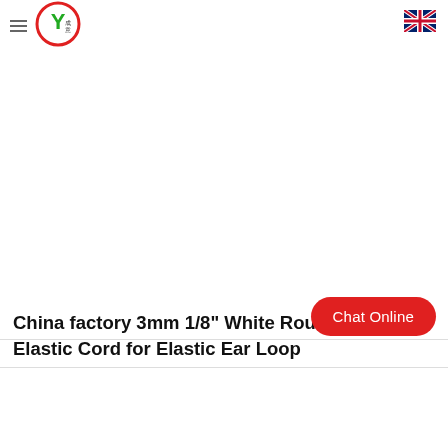China factory 3mm 1/8" White Round Spandex Elastic Cord for Elastic Ear Loop
[Figure (logo): Company logo: circular red and green Y symbol with Chinese characters]
[Figure (illustration): UK flag icon (Union Jack) in top right corner]
China factory 3mm 1/8" White Round Spandex Elastic Cord for Elastic Ear Loop
Chat Online